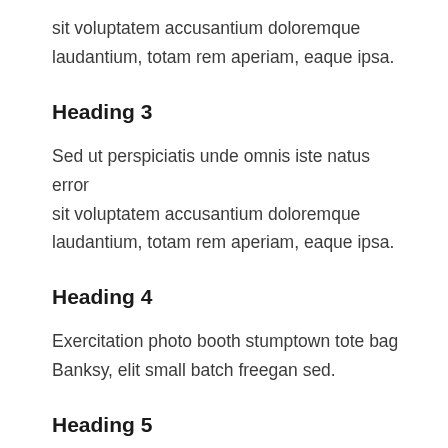sit voluptatem accusantium doloremque laudantium, totam rem aperiam, eaque ipsa.
Heading 3
Sed ut perspiciatis unde omnis iste natus error sit voluptatem accusantium doloremque laudantium, totam rem aperiam, eaque ipsa.
Heading 4
Exercitation photo booth stumptown tote bag Banksy, elit small batch freegan sed.
Heading 5